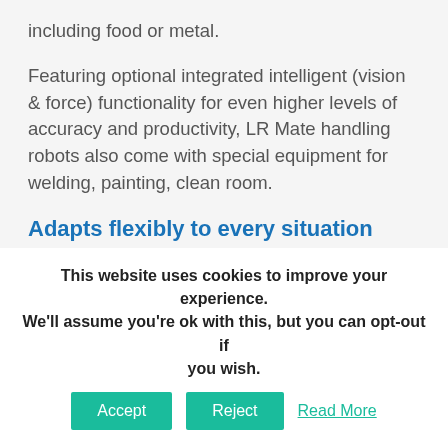including food or metal.
Featuring optional integrated intelligent (vision & force) functionality for even higher levels of accuracy and productivity, LR Mate handling robots also come with special equipment for welding, painting, clean room.
Adapts flexibly to every situation
This compact multi function robot offers you full flexibility thanks to floor, ceiling, wall and angle mounting. With its compact design and sealed mechanical units (IP67) you can even integrate it
This website uses cookies to improve your experience. We'll assume you're ok with this, but you can opt-out if you wish.
Accept  Reject  Read More